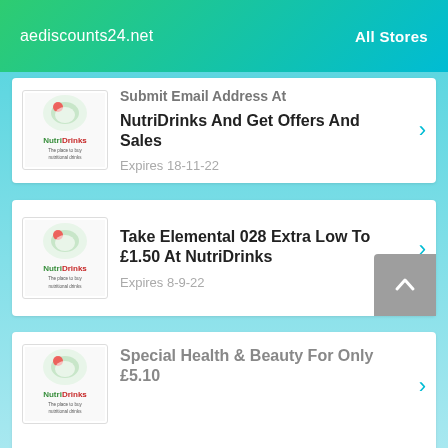aediscounts24.net   All Stores
Submit Email Address At NutriDrinks And Get Offers And Sales — Expires 18-11-22
Take Elemental 028 Extra Low To £1.50 At NutriDrinks — Expires 8-9-22
Special Health & Beauty For Only £5.10